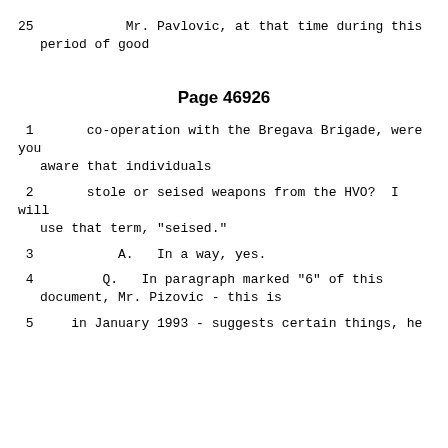25          Mr. Pavlovic, at that time during this period of good
Page 46926
1       co-operation with the Bregava Brigade, were you aware that individuals
2       stole or seised weapons from the HVO?  I will use that term, "seised."
3           A.   In a way, yes.
4         Q.   In paragraph marked "6" of this document, Mr. Pizovic - this is
5     in January 1993 - suggests certain things, he